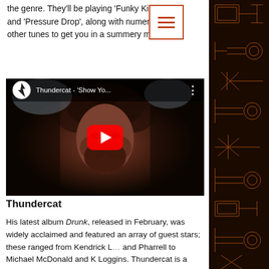the genre. They'll be playing 'Funky Kingston' and 'Pressure Drop', along with numerous other tunes to get you in a summery m...
[Figure (screenshot): YouTube video embed showing Thundercat - 'Show Yo...' with YouTube logo, video title bar, thumbnail of a face, and red play button]
Thundercat
His latest album Drunk, released in February, was widely acclaimed and featured an array of guest stars; these ranged from Kendrick L and Pharrell to Michael McDonald and K Loggins. Thundercat is a bassist very much in demand, making an even bigger name for...